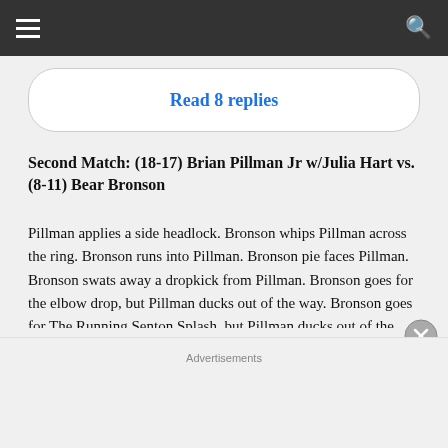Read 8 replies
Second Match: (18-17) Brian Pillman Jr w/Julia Hart vs. (8-11) Bear Bronson
Pillman applies a side headlock. Bronson whips Pillman across the ring. Bronson runs into Pillman. Bronson pie faces Pillman. Bronson swats away a dropkick from Pillman. Bronson goes for the elbow drop, but Pillman ducks out of the way. Bronson goes for The Running Senton Splash, but Pillman ducks out of the way. Pillman with Two Mid-Kicks. Bronson whips Pillman across the ring. Pillman holds onto the ropes. Pillman sends Bronson tumbling to the floor. Pillman dropkicks Bronson through the ropes. Pillman rolls Bronson back into the ring. Pillman with a shoulder block. Pillman goes for the sunset flip...
Advertisements